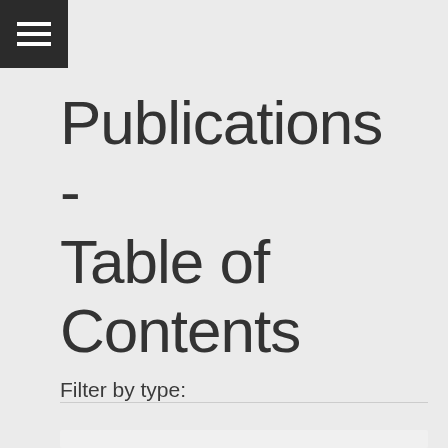[Figure (other): Hamburger menu icon button — three horizontal white lines on dark background]
Publications - Table of Contents
Filter by type: